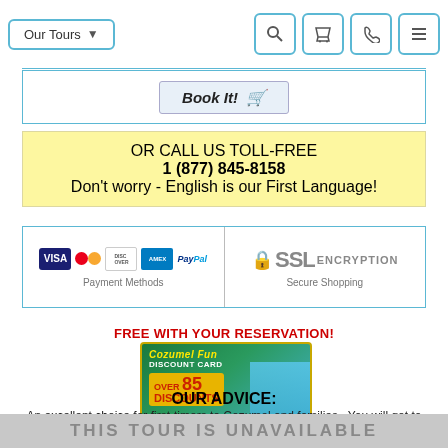[Figure (screenshot): Navigation bar with 'Our Tours' dropdown button and icons for search, cart, phone, and menu]
[Figure (screenshot): Book It! button with shopping cart icon]
OR CALL US TOLL-FREE
1 (877) 845-8158
Don't worry - English is our First Language!
[Figure (infographic): Payment methods section showing Visa, Mastercard, Discover, Amex, PayPal logos and SSL Encryption Secure Shopping badge]
FREE WITH YOUR RESERVATION!
[Figure (infographic): Cozumel Fun Discount Card promotional image showing Over 85 Discounts and Exclusive Bonus with snorkeling photo]
THE COZUMEL FUN CARD
OUR ADVICE:
An excellent choice for first-timers to Cozumel and families. You will get to learn
THIS TOUR IS UNAVAILABLE